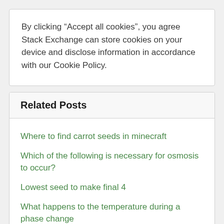By clicking “Accept all cookies”, you agree Stack Exchange can store cookies on your device and disclose information in accordance with our Cookie Policy.
Related Posts
Where to find carrot seeds in minecraft
Which of the following is necessary for osmosis to occur?
Lowest seed to make final 4
What happens to the temperature during a phase change